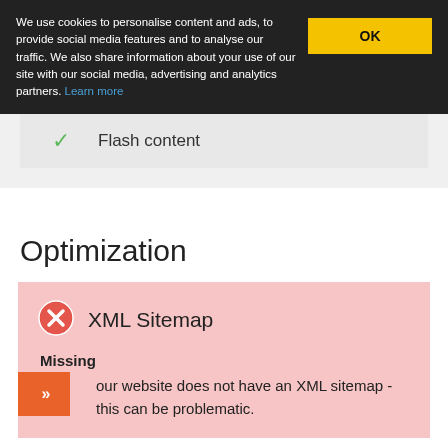We use cookies to personalise content and ads, to provide social media features and to analyse our traffic. We also share information about your use of our site with our social media, advertising and analytics partners. Learn more
OK
Flash content
Optimization
XML Sitemap
Missing
Your website does not have an XML sitemap - this can be problematic.